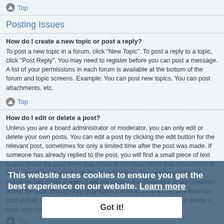Top
Posting Issues
How do I create a new topic or post a reply?
To post a new topic in a forum, click "New Topic". To post a reply to a topic, click "Post Reply". You may need to register before you can post a message. A list of your permissions in each forum is available at the bottom of the forum and topic screens. Example: You can post new topics, You can post attachments, etc.
Top
How do I edit or delete a post?
Unless you are a board administrator or moderator, you can only edit or delete your own posts. You can edit a post by clicking the edit button for the relevant post, sometimes for only a limited time after the post was made. If someone has already replied to the post, you will find a small piece of text output below the post when you return to the topic which lists the number of times you edited it along with the date and time. This will only appear if someone has made a reply; it will not appear if a moderator or administrator edited the post, though they may leave a note as to why they've edited the post at their own discretion. Please note that normal users cannot delete a post once someone has replied.
Top
This website uses cookies to ensure you get the best experience on our website. Learn more
Got it!